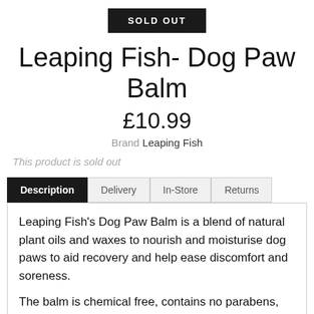SOLD OUT
Leaping Fish- Dog Paw Balm
£10.99
Brand Leaping Fish
This product is sold out
Description | Delivery | In-Store | Returns
Leaping Fish's Dog Paw Balm is a blend of natural plant oils and waxes to nourish and moisturise dog paws to aid recovery and help ease discomfort and soreness.

The balm is chemical free, contains no parabens, SLS's or water and is easily applied and absorbed; it is dog